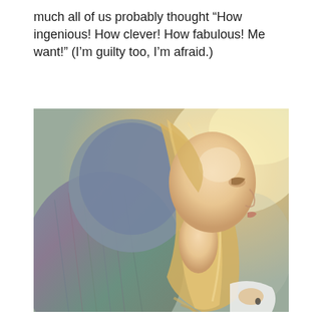much all of us probably thought “How ingenious! How clever! How fabulous! Me want!” (I’m guilty too, I’m afraid.)
[Figure (photo): Side profile photo of a young woman with long blonde hair, wearing a multicolored knit cardigan over a white top, with soft backlit outdoor lighting.]